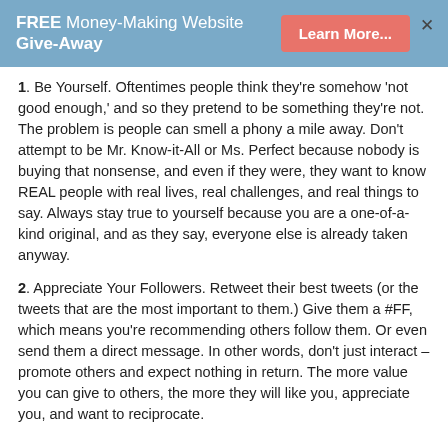FREE Money-Making Website Give-Away — Learn More...
1. Be Yourself. Oftentimes people think they're somehow 'not good enough,' and so they pretend to be something they're not. The problem is people can smell a phony a mile away. Don't attempt to be Mr. Know-it-All or Ms. Perfect because nobody is buying that nonsense, and even if they were, they want to know REAL people with real lives, real challenges, and real things to say. Always stay true to yourself because you are a one-of-a-kind original, and as they say, everyone else is already taken anyway.
2. Appreciate Your Followers. Retweet their best tweets (or the tweets that are the most important to them.) Give them a #FF, which means you're recommending others follow them. Or even send them a direct message. In other words, don't just interact – promote others and expect nothing in return. The more value you can give to others, the more they will like you, appreciate you, and want to reciprocate.